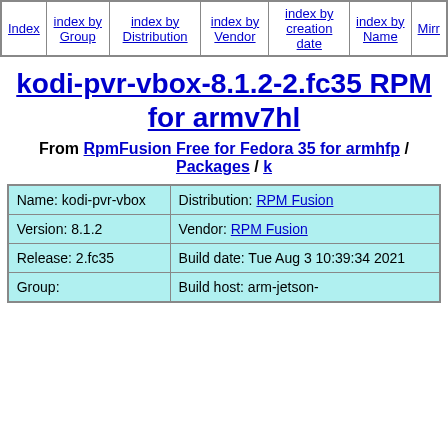| Index | index by Group | index by Distribution | index by Vendor | index by creation date | index by Name | Mirr... |
| --- | --- | --- | --- | --- | --- | --- |
|  |
kodi-pvr-vbox-8.1.2-2.fc35 RPM for armv7hl
From RpmFusion Free for Fedora 35 for armhfp / Packages / k
| Name: kodi-pvr-vbox | Distribution: RPM Fusion |
| Version: 8.1.2 | Vendor: RPM Fusion |
| Release: 2.fc35 | Build date: Tue Aug 3 10:39:34 2021 |
| Group: | Build host: arm-jetson- |